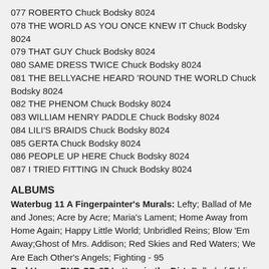077 ROBERTO Chuck Bodsky 8024
078 THE WORLD AS YOU ONCE KNEW IT Chuck Bodsky 8024
079 THAT GUY Chuck Bodsky 8024
080 SAME DRESS TWICE Chuck Bodsky 8024
081 THE BELLYACHE HEARD 'ROUND THE WORLD Chuck Bodsky 8024
082 THE PHENOM Chuck Bodsky 8024
083 WILLIAM HENRY PADDLE Chuck Bodsky 8024
084 LILI'S BRAIDS Chuck Bodsky 8024
085 GERTA Chuck Bodsky 8024
086 PEOPLE UP HERE Chuck Bodsky 8024
087 I TRIED FITTING IN Chuck Bodsky 8024
ALBUMS
Waterbug 11 A Fingerpainter's Murals: Lefty; Ballad of Me and Jones; Acre by Acre; Maria's Lament; Home Away from Home Again; Happy Little World; Unbridled Reins; Blow 'Em Away;Ghost of Mrs. Addison; Red Skies and Red Waters; We Are Each Other's Angels; Fighting - 95
Red House RHR-CD-87 Letters in the Dirt: Ballad of Eddie Klepp; She's Gone; Bill & Annie; No More Mr. Nice Guy; Letters in the Dirt; Talk